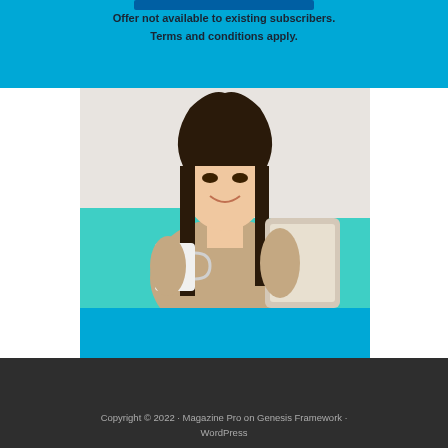Offer not available to existing subscribers. Terms and conditions apply.
[Figure (photo): A smiling young Asian woman sitting on a teal couch, holding a white mug and a tablet device, wearing a beige turtleneck sweater. Background is light and bright.]
Copyright © 2022 · Magazine Pro on Genesis Framework · WordPress